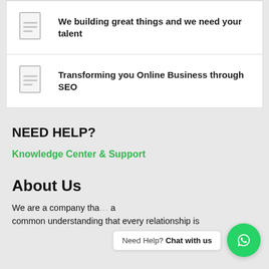We building great things and we need your talent
Transforming you Online Business through SEO
NEED HELP?
Knowledge Center & Support
About Us
We are a company tha... a common understanding that every relationship is
Need Help? Chat with us